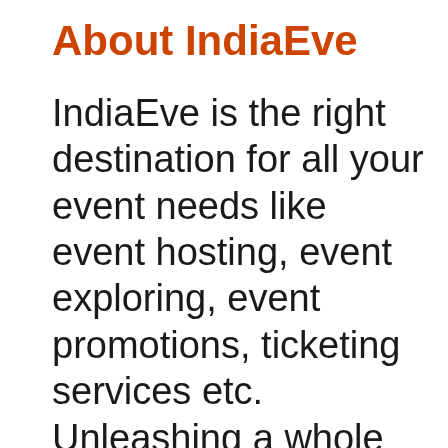About IndiaEve
IndiaEve is the right destination for all your event needs like event hosting, event exploring, event promotions, ticketing services etc. Unleashing a whole world of events of